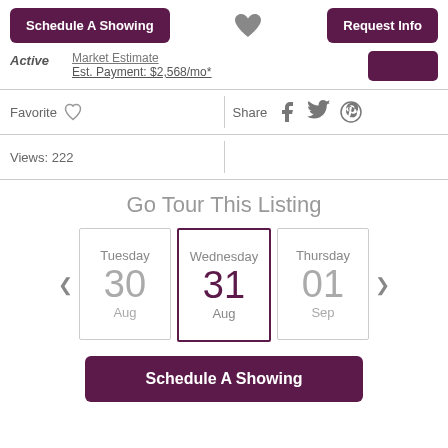Schedule A Showing
Request Info
Active
Market Estimate
Est. Payment: $2,568/mo*
Favorite
Share
Views: 222
Go Tour This Listing
Tuesday 30 Aug
Wednesday 31 Aug
Thursday 01 Sep
Schedule A Showing